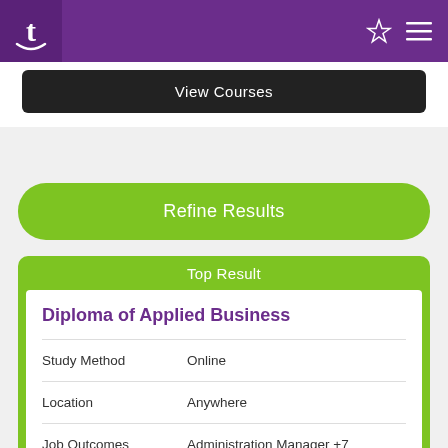t [logo] ☆ ≡
View Courses
Refine Results
Top Result
Diploma of Applied Business
| Field | Value |
| --- | --- |
| Study Method | Online |
| Location | Anywhere |
| Job Outcomes | Administration Manager +7 |